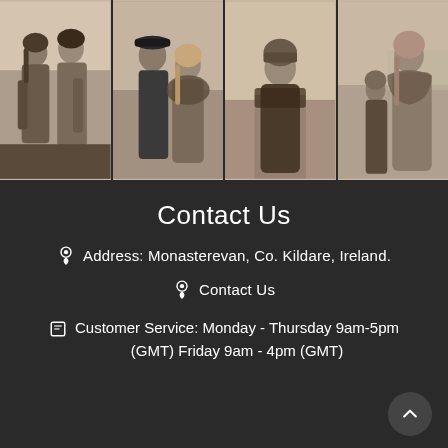[Figure (photo): Strip of four black-and-white/sepia photographs showing people in traditional Irish clothing outdoors. Photo 1: two young people standing together. Photo 2: young man in flat cap with a woman in shawl. Photo 3: person with knitted cap on a rural path. Photo 4: woman in shawl with a child.]
Contact Us
Address: Monasterevan, Co. Kildare, Ireland.
Contact Us
Customer Service: Monday - Thursday 9am-5pm (GMT) Friday 9am - 4pm (GMT)